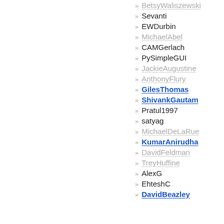BetsyWaliszewski
Sevanti
EWDurbin
MichaelAbel
CAMGerlach
PySimpleGUI
JackieAugustine
AnthonyFlury
GilesThomas
ShivankGautam
Pratul1997
satyag
MichaelDeLaRue
KumarAnirudha
DavidFeldman
TreyHuffine
AlexG
EhteshC
DavidBeazley